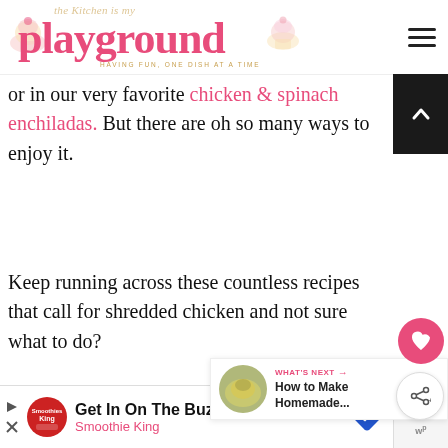the Kitchen is my playground — HAVING FUN, ONE DISH AT A TIME
or in our very favorite chicken & spinach enchiladas.  But there are oh so many ways to enjoy it.
Keep running across these countless recipes that call for shredded chicken and not sure what to do?
[Figure (screenshot): What's Next widget showing 'How to Make Homemade...' with a food thumbnail]
[Figure (infographic): Advertisement banner: Get In On The Buzz — Smoothie King]